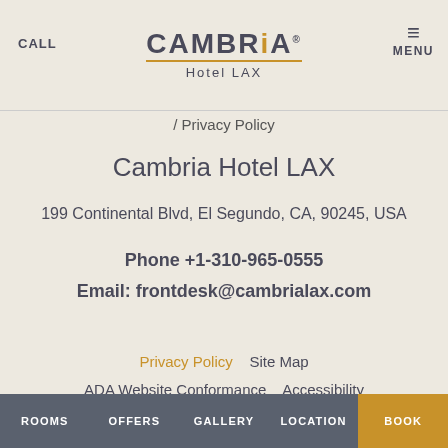CALL | CAMBRIA Hotel LAX | MENU
/ Privacy Policy
Cambria Hotel LAX
199 Continental Blvd, El Segundo, CA, 90245, USA
Phone +1-310-965-0555
Email: frontdesk@cambrialax.com
Privacy Policy    Site Map
ADA Website Conformance    Accessibility
https://www.cambrialax.com/
© 2022, Choice Hotels International, Inc. All rights
ROOMS    OFFERS    GALLERY    LOCATION    BOOK